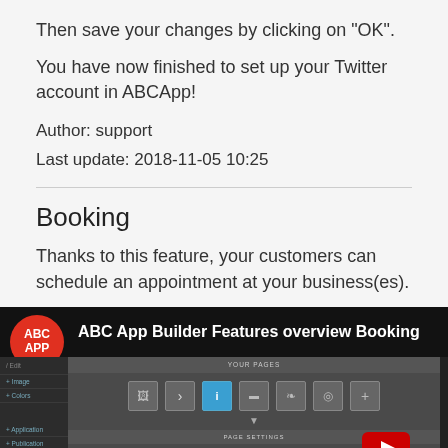Then save your changes by clicking on "OK".
You have now finished to set up your Twitter account in ABCApp!
Author: support
Last update: 2018-11-05 10:25
Booking
Thanks to this feature, your customers can schedule an appointment at your business(es).
[Figure (screenshot): Video thumbnail showing ABC App Builder Features overview Booking with ABC APP logo and app builder interface screenshot]